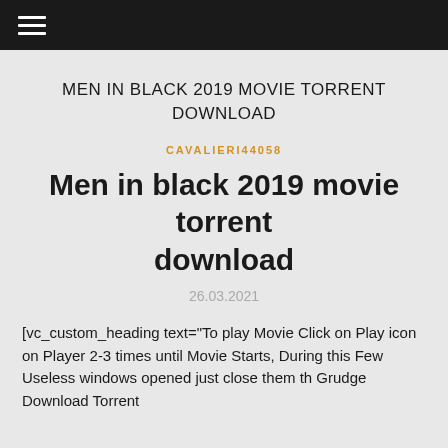≡
MEN IN BLACK 2019 MOVIE TORRENT DOWNLOAD
CAVALIERI44058
Men in black 2019 movie torrent download
26.03.2021
[vc_custom_heading text="To play Movie Click on Play icon on Player 2-3 times until Movie Starts, During this Few Useless windows opened just close them th Grudge Download Torrent